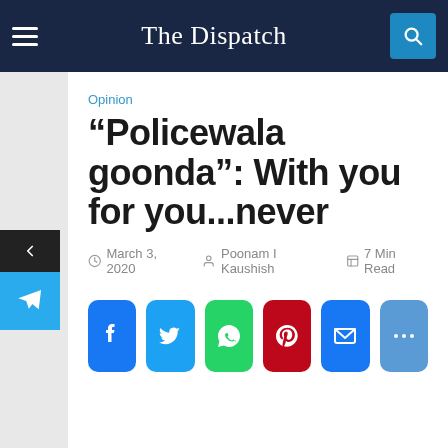The Dispatch
Opinion
“Policewala goonda”: With you for you...never
March 3, 2020   Poonam I Kaushish   7 Min Read
[Figure (infographic): Social share buttons: Facebook, Twitter, WhatsApp, Pinterest, Email, More]